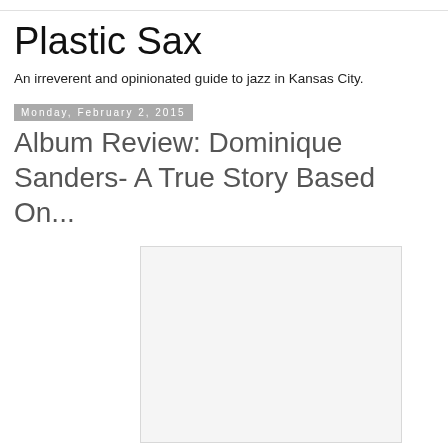Plastic Sax
An irreverent and opinionated guide to jazz in Kansas City.
Monday, February 2, 2015
Album Review: Dominique Sanders- A True Story Based On...
[Figure (photo): A blank/white image placeholder for an album review post]